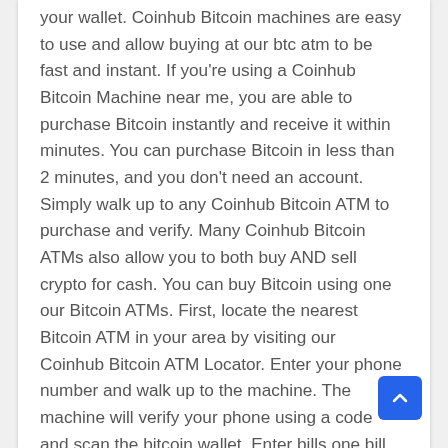your wallet. Coinhub Bitcoin machines are easy to use and allow buying at our btc atm to be fast and instant. If you're using a Coinhub Bitcoin Machine near me, you are able to purchase Bitcoin instantly and receive it within minutes. You can purchase Bitcoin in less than 2 minutes, and you don't need an account. Simply walk up to any Coinhub Bitcoin ATM to purchase and verify. Many Coinhub Bitcoin ATMs also allow you to both buy AND sell crypto for cash. You can buy Bitcoin using one our Bitcoin ATMs. First, locate the nearest Bitcoin ATM in your area by visiting our Coinhub Bitcoin ATM Locator. Enter your phone number and walk up to the machine. The machine will verify your phone using a code and scan the bitcoin wallet. Enter bills one bill at a time for the amount you would like to purchase and confirm the bitcoin atm prior to purchase. The bitcoin is instantly sent to your wallet. The daily buying limit is $25,000. We have Bitcoin